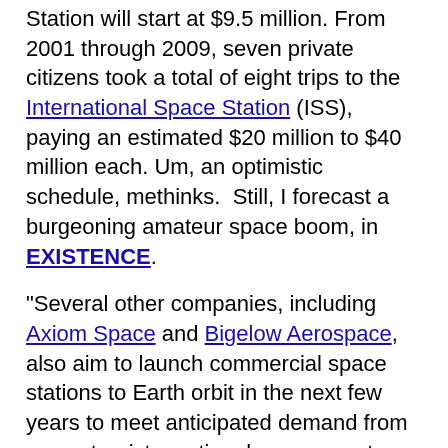Station will start at $9.5 million. From 2001 through 2009, seven private citizens took a total of eight trips to the International Space Station (ISS), paying an estimated $20 million to $40 million each. Um, an optimistic schedule, methinks. Still, I forecast a burgeoning amateur space boom, in EXISTENCE.
"Several other companies, including Axiom Space and Bigelow Aerospace, also aim to launch commercial space stations to Earth orbit in the next few years to meet anticipated demand from space tourists, national governments, researchers and private industry." And yes, there should be a hotel orbiting above the Moon!
The RemoveDebris space robot has a net, a harpoon and a dragsail on-board. To be launched from the Space Station, it will hunt large items of